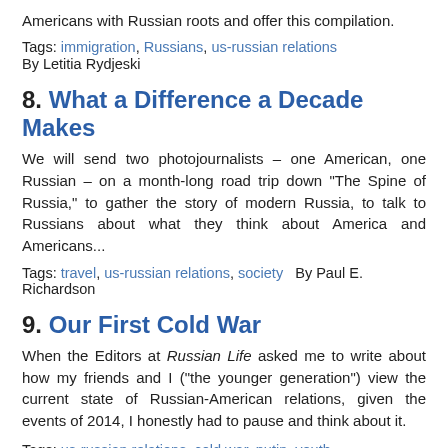Americans with Russian roots and offer this compilation.
Tags: immigration, Russians, us-russian relations
By Letitia Rydjeski
8. What a Difference a Decade Makes
We will send two photojournalists – one American, one Russian – on a month-long road trip down “The Spine of Russia,” to gather the story of modern Russia, to talk to Russians about what they think about America and Americans...
Tags: travel, us-russian relations, society   By Paul E. Richardson
9. Our First Cold War
When the Editors at Russian Life asked me to write about how my friends and I (“the younger generation”) view the current state of Russian-American relations, given the events of 2014, I honestly had to pause and think about it.
Tags: us-russian relations, cold war, putin, youth
By Yulia Barenburg